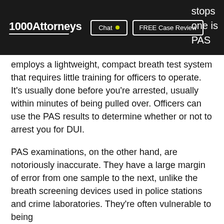1000Attorneys | Chat | FREE Case Review | stops | one is | PAS
employs a lightweight, compact breath test system that requires little training for officers to operate. It's usually done before you're arrested, usually within minutes of being pulled over. Officers can use the PAS results to determine whether or not to arrest you for DUI.
PAS examinations, on the other hand, are notoriously inaccurate. They have a large margin of error from one sample to the next, unlike the breath screening devices used in police stations and crime laboratories. They're often vulnerable to being